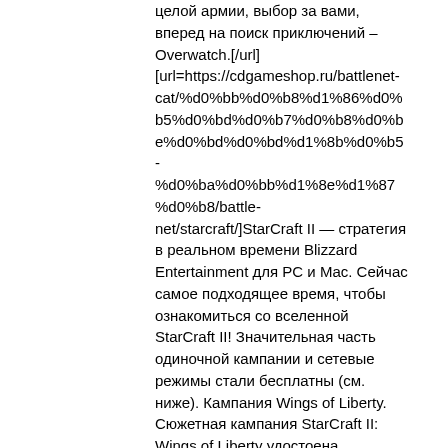целой армии, выбор за вами, вперед на поиск приключений – Overwatch.[/url]
[url=https://cdgameshop.ru/battlenet-cat/%d0%bb%d0%b8%d1%86%d0%b5%d0%bd%d0%b7%d0%b8%d0%be%d0%bd%d0%bd%d1%8b%d0%b5-%d0%ba%d0%bb%d1%8e%d1%87%d0%b8/battle-net/starcraft/]StarCraft II — стратегия в реальном времени Blizzard Entertainment для PC и Mac. Сейчас самое подходящее время, чтобы ознакомиться со вселенной StarCraft II! Значительная часть одиночной кампании и сетевые режимы стали бесплатны (см. ниже). Кампания Wings of Liberty. Сюжетная кампания StarCraft II: Wings of Liberty удостоена множества наград и теперь является полностью бесплатной. Сетевой режим[/url]
[url=https://cdgameshop.ru/]Blizzconline: Панель Diablo[/url]
[url=https://cdgameshop.ru/]Поддержка игроков в Shadowlands[/url]
[url=https://cdgameshop.ru/]Бета-тестирования PvP в Overwatch 2 началось[/url]
[url=https://cdgameshop.ru/]Поддержка игроков в Shadowlands[/url]